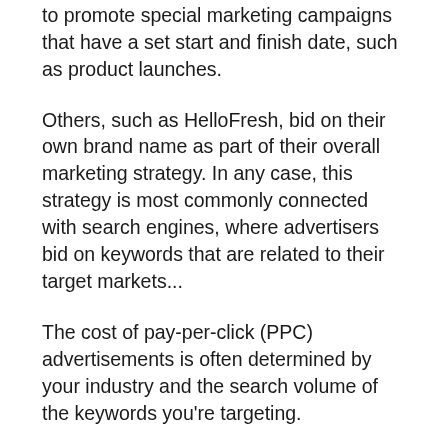alongside organic search results. Some organizations use this search advertising to promote special marketing campaigns that have a set start and finish date, such as product launches.
Others, such as HelloFresh, bid on their own brand name as part of their overall marketing strategy. In any case, this strategy is most commonly connected with search engines, where advertisers bid on keywords that are related to their target markets...
The cost of pay-per-click (PPC) advertisements is often determined by your industry and the search volume of the keywords you're targeting.